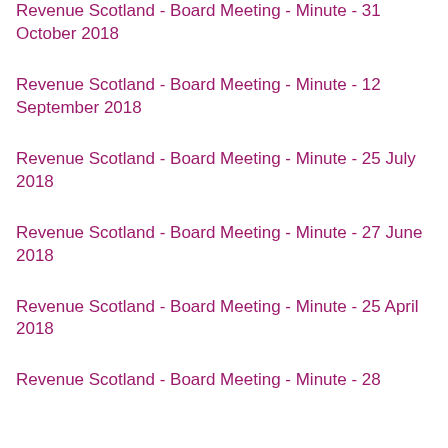Revenue Scotland - Board Meeting - Minute - 31 October 2018
Revenue Scotland - Board Meeting - Minute - 12 September 2018
Revenue Scotland - Board Meeting - Minute - 25 July 2018
Revenue Scotland - Board Meeting - Minute - 27 June 2018
Revenue Scotland - Board Meeting - Minute - 25 April 2018
Revenue Scotland - Board Meeting - Minute - 28